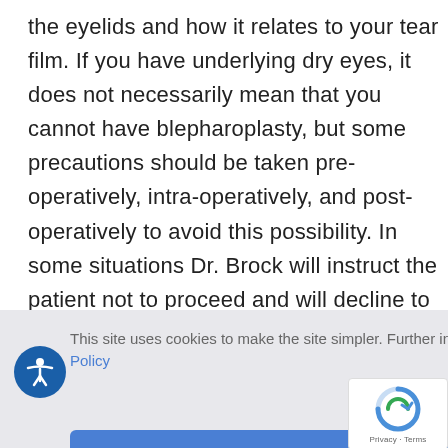the eyelids and how it relates to your tear film. If you have underlying dry eyes, it does not necessarily mean that you cannot have blepharoplasty, but some precautions should be taken pre-operatively, intra-operatively, and post-operatively to avoid this possibility. In some situations Dr. Brock will instruct the patient not to proceed and will decline to operate.
This site uses cookies to make the site simpler. Further information is provided in our Privacy Policy
Accept